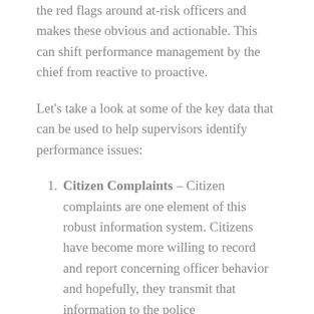the red flags around at-risk officers and makes these obvious and actionable. This can shift performance management by the chief from reactive to proactive.
Let's take a look at some of the key data that can be used to help supervisors identify performance issues:
Citizen Complaints – Citizen complaints are one element of this robust information system.  Citizens have become more willing to record and report concerning officer behavior and hopefully, they transmit that information to the police